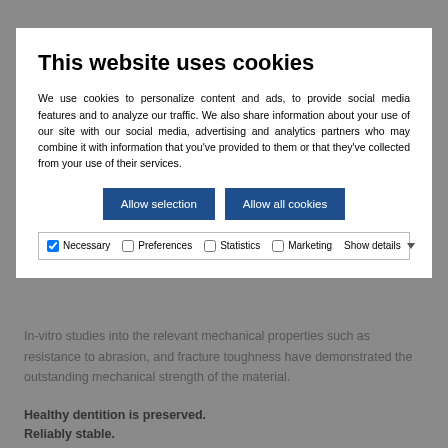This website uses cookies
We use cookies to personalize content and ads, to provide social media features and to analyze our traffic. We also share information about your use of our site with our social media, advertising and analytics partners who may combine it with information that you've provided to them or that they've collected from your use of their services.
Allow selection | Allow all cookies
Necessary  Preferences  Statistics  Marketing  Show details
In-vitro studies into the relevant mechanical properties such as resistance to abrasion, and fracture toughness have demonstrated the outstanding mechanical strength of the material.
Healthy dentition is preserved.
Reliably stable.